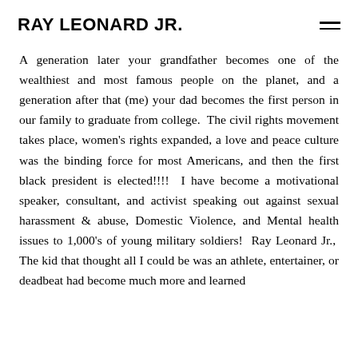RAY LEONARD JR.
A generation later your grandfather becomes one of the wealthiest and most famous people on the planet, and a generation after that (me) your dad becomes the first person in our family to graduate from college.  The civil rights movement takes place, women's rights expanded, a love and peace culture was the binding force for most Americans, and then the first black president is elected!!!!  I have become a motivational speaker, consultant, and activist speaking out against sexual harassment & abuse, Domestic Violence, and Mental health issues to 1,000's of young military soldiers!  Ray Leonard Jr.,  The kid that thought all I could be was an athlete, entertainer, or deadbeat had become much more and learned